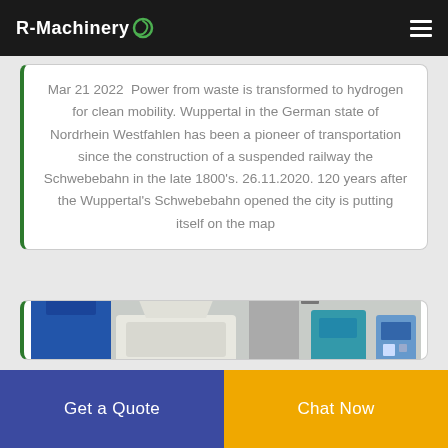R-Machinery
Mar 21 2022  Power from waste is transformed to hydrogen for clean mobility. Wuppertal in the German state of Nordrhein Westfahlen has been a pioneer of transportation since the construction of a suspended railway the Schwebebahn in the late 1800's. 26.11.2020. 120 years after the Wuppertal's Schwebebahn opened the city is putting itself on the map
[Figure (photo): Industrial machinery in a factory setting, showing a white shredder/granulator machine, blue equipment, and other processing machinery on a concrete floor.]
Get a Quote | Chat Now